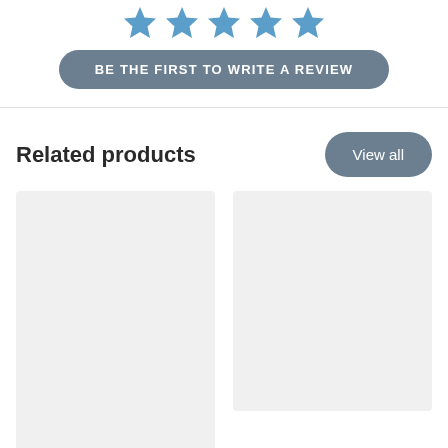[Figure (other): Five blue star rating icons displayed in a row]
BE THE FIRST TO WRITE A REVIEW
Related products
[Figure (other): View all button]
[Figure (other): Left product card placeholder (gray rectangle)]
[Figure (other): Right product card placeholder (gray rectangle)]